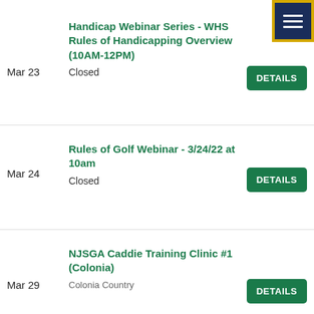Mar 23 | Handicap Webinar Series - WHS Rules of Handicapping Overview (10AM-12PM) | Closed | DETAILS
Mar 24 | Rules of Golf Webinar - 3/24/22 at 10am | Closed | DETAILS
Mar 29 | NJSGA Caddie Training Clinic #1 (Colonia) | Colonia Country | DETAILS